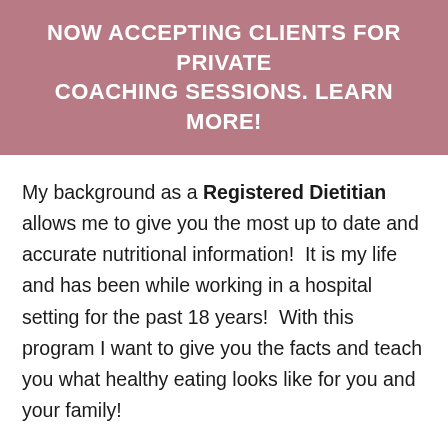NOW ACCEPTING CLIENTS FOR PRIVATE COACHING SESSIONS. LEARN MORE!
My background as a Registered Dietitian allows me to give you the most up to date and accurate nutritional information!  It is my life and has been while working in a hospital setting for the past 18 years!  With this program I want to give you the facts and teach you what healthy eating looks like for you and your family!
I also want to show you how easy it can be to